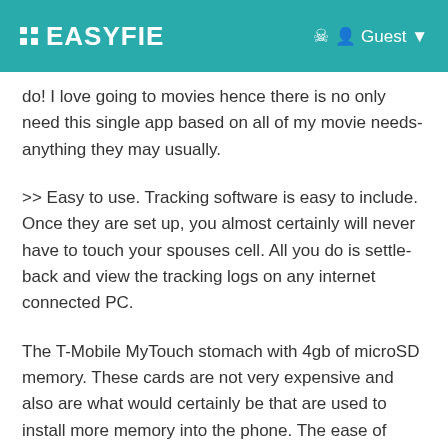EASYFIE   Guest
do! I love going to movies hence there is no only need this single app based on all of my movie needs- anything they may usually.
>> Easy to use. Tracking software is easy to include. Once they are set up, you almost certainly will never have to touch your spouses cell. All you do is settle-back and view the tracking logs on any internet connected PC.
The T-Mobile MyTouch stomach with 4gb of microSD memory. These cards are not very expensive and also are what would certainly be that are used to install more memory into the phone. The ease of upgrading the phone is certainly a great asset however if compared to the iPhone which comes with 32mb of memory